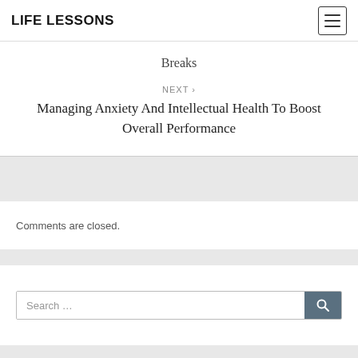LIFE LESSONS
Breaks
NEXT › Managing Anxiety And Intellectual Health To Boost Overall Performance
Comments are closed.
Search …